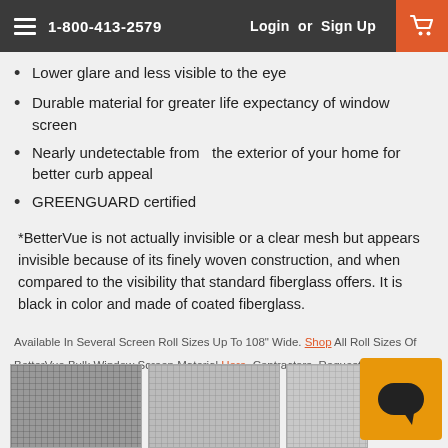1-800-413-2579  Login or Sign Up
Lower glare and less visible to the eye
Durable material for greater life expectancy of window screen
Nearly undetectable from   the exterior of your home for better curb appeal
GREENGUARD certified
*BetterVue is not actually invisible or a clear mesh but appears invisible because of its finely woven construction, and when compared to the visibility that standard fiberglass offers. It is black in color and made of coated fiberglass.
Available In Several Screen Roll Sizes Up To 108" Wide. Shop All Roll Sizes Of
BetterVue Bulk Window Screen Material Here. Contractors, Request A Bid  Here.
[Figure (photo): Three close-up photos of fiberglass window screen mesh material]